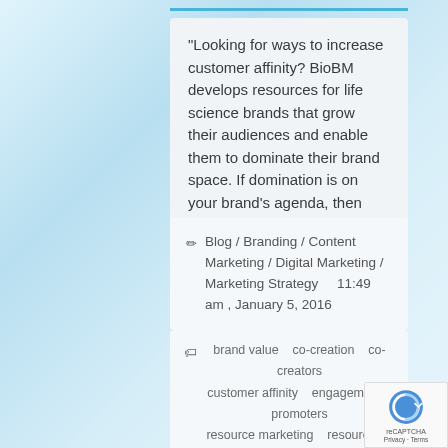"Looking for ways to increase customer affinity? BioBM develops resources for life science brands that grow their audiences and enable them to dominate their brand space. If domination is on your brand's agenda, then contact BioBM today."
Blog / Branding / Content Marketing / Digital Marketing / Marketing Strategy    11:49 am , January 5, 2016
brand value   co-creation   co-creators   customer affinity   engagement   promoters   resource marketing   resources   SMM   social media   social media marketing   supporters   transactors